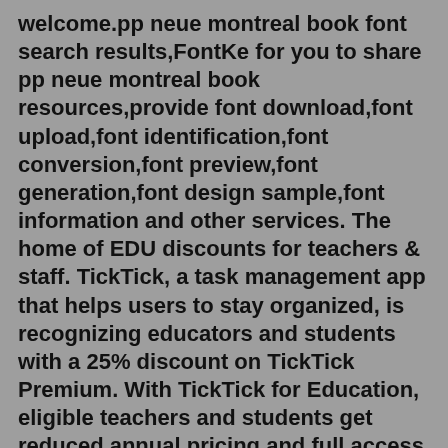welcome.pp neue montreal book font search results,FontKe for you to share pp neue montreal book resources,provide font download,font upload,font identification,font conversion,font preview,font generation,font design sample,font information and other services. The home of EDU discounts for teachers & staff. TickTick, a task management app that helps users to stay organized, is recognizing educators and students with a 25% discount on TickTick Premium. With TickTick for Education, eligible teachers and students get reduced annual pricing and full access to TickTick's all-in-one time management solution.Cannabis is the most commonly consumed illicit drug in several countries around the world, including the United States and the United Kingdom, and approximately 3.8% of the world's population are recreational users ().In the past few decades, there has been a marked increase in the use of cannabis by young individuals in most developed societies, with occasional use becoming a